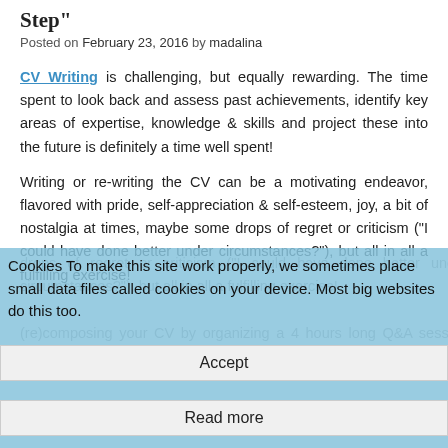Step"
Posted on February 23, 2016 by madalina
CV Writing is challenging, but equally rewarding. The time spent to look back and assess past achievements, identify key areas of expertise, knowledge & skills and project these into the future is definitely a time well spent!
Writing or re-writing the CV can be a motivating endeavor, flavored with pride, self-appreciation & self-esteem, joy, a bit of nostalgia at times, maybe some drops of regret or criticism ("I could have done better under circumstances?"), but all in all a fulfilling exercise!
Cookies To make this site work properly, we sometimes place small data files called cookies on your device. Most big websites do this too.
Accept
Read more